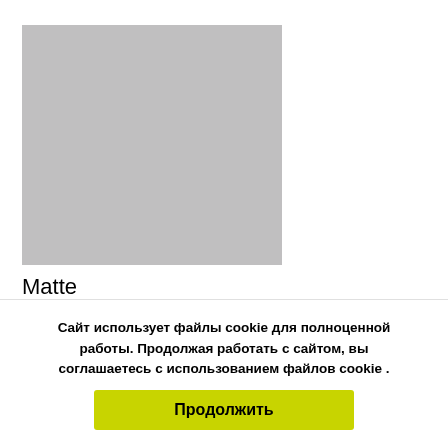[Figure (photo): Large grey square placeholder image]
Matte
[Figure (photo): Partial grey rectangle placeholder image with blue circle element partially visible]
Сайт использует файлы cookie для полноценной работы. Продолжая работать с сайтом, вы соглашаетесь с использованием файлов cookie .
Продолжить